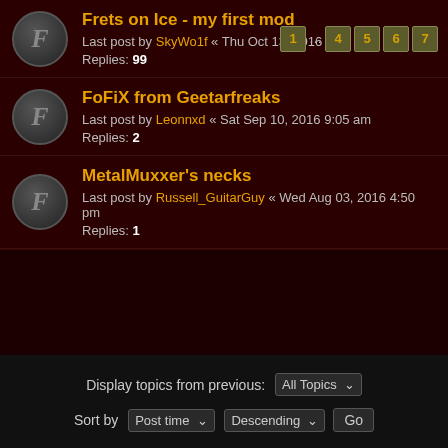Frets on Ice - my first mod | Last post by SkyWo1f « Thu Oct 13, 2016 4:49 am | Replies: 99 | Pages: 1 ... 4 5 6 7
FoFiX from Geetarfreaks | Last post by Leonnxd « Sat Sep 10, 2016 9:05 am | Replies: 2
MetalMuxxer's necks | Last post by Russell_GuitarGuy « Wed Aug 03, 2016 4:50 pm | Replies: 1
Display topics from previous: All Topics
Sort by Post time Descending Go